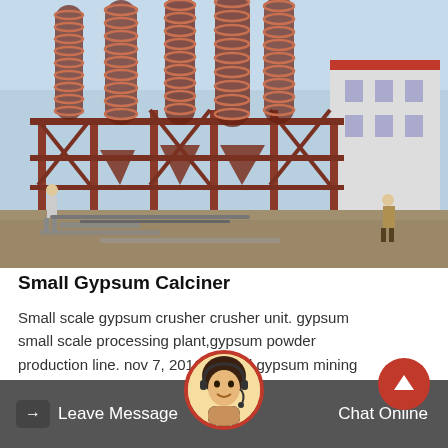[Figure (photo): Outdoor industrial facility showing large spiral/helical processing equipment (gypsum calciners or spiral separators) mounted on red steel frame structures. Workers visible on ground. Building visible in background on right. Clear sky. Construction/installation scene.]
Small Gypsum Calciner
Small scale gypsum crusher crusher unit. gypsum small scale processing plant,gypsum powder production line. nov 7, 2011 natural gypsum mining and beneficiation isargescale industry in…
→ Leave Message   Chat Online